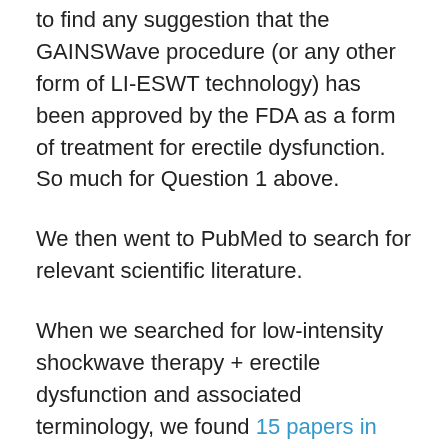to find any suggestion that the GAINSWave procedure (or any other form of LI-ESWT technology) has been approved by the FDA as a form of treatment for erectile dysfunction. So much for Question 1 above.
We then went to PubMed to search for relevant scientific literature.
When we searched for low-intensity shockwave therapy + erectile dysfunction and associated terminology, we found 15 papers in total, several of which were review articles, but including data from three relatively small, randomized clinical trials.
Most of these papers dealt with the effect of LI-ESWT in men with “normal”, i.e., age-related, vasculogenic ED. The data presented in these papers (including the three randomized clinical trials) appear to be conflicting. The